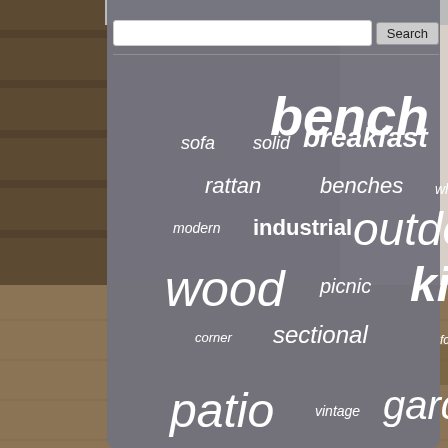[Figure (screenshot): Website screenshot showing a search bar and a word cloud of furniture-related keywords on a grey panel over a room background photo. Words include: bench, breakfast, sofa, solid, rattan, benches, white, piece, modern, industrial, outdoor, wooden, wood, picnic, kitchen, farmhouse, corner, sectional, folding, chairs, patio, vintage, garden, rustic, seat, brown, nook, table, chair, metal, room, furniture, wicker, home, dining]